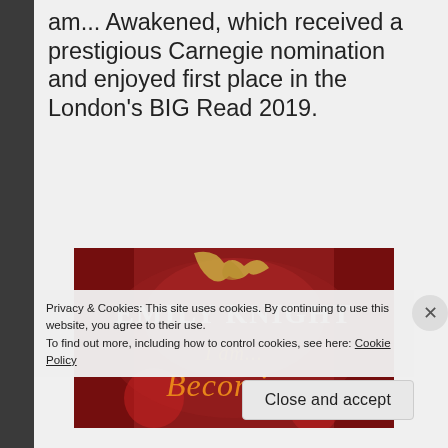am... Awakened, which received a prestigious Carnegie nomination and enjoyed first place in the London's BIG Read 2019.
[Figure (illustration): Book cover for 'Emily Knight I am... Becoming' — red dramatic background with decorative styling, white serif title text 'EMILY KNIGHT' and orange script 'I am... Becoming']
Privacy & Cookies: This site uses cookies. By continuing to use this website, you agree to their use.
To find out more, including how to control cookies, see here: Cookie Policy
Close and accept